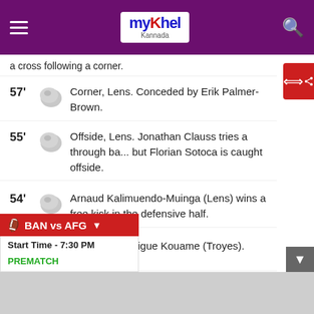myKhel Kannada
a cross following a corner.
57' Corner, Lens. Conceded by Erik Palmer-Brown.
55' Offside, Lens. Jonathan Clauss tries a through ball but Florian Sotoca is caught offside.
54' Arnaud Kalimuendo-Muinga (Lens) wins a free kick in the defensive half.
54' Foul by Rominigue Kouame (Troyes).
49' Foul by Facundo Medina (Lens).
49' ...art (Troyes) wins a free kick in the ...alf.
48' Attempt missed. Seko Fofana (Lens) right footed shot from outside the box misses to the left.
BAN vs AFG  Start Time - 7:30 PM  PREMATCH